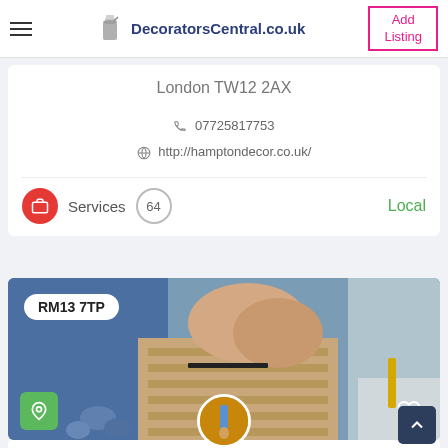DecoratorsCentral.co.uk | Add Listing
London TW12 2AX
07725817753
http://hamptondecor.co.uk/
Services  64  Local
[Figure (photo): Photo of a person's feet on a wooden floor, partially showing a decorating or flooring task in progress. A postcode badge 'RM13 7TP' is overlaid top-left. Green location pin button bottom-left, heart icon bottom-right.]